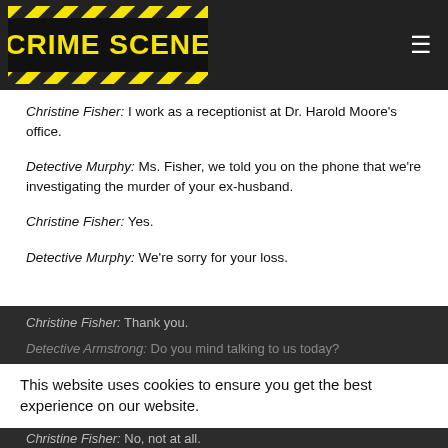[Figure (logo): Crime Scene logo in yellow and black hazard stripe style on dark header bar]
Christine Fisher: I work as a receptionist at Dr. Harold Moore's office.
Detective Murphy: Ms. Fisher, we told you on the phone that we're investigating the murder of your ex-husband.
Christine Fisher: Yes.
Detective Murphy: We're sorry for your loss.
Christine Fisher: Thank you.
Detective Armstrong: Do you mind talking to us today?
Christine Fisher: No, not at all.
Detective Murphy: Pardon me, this may be out of line, but you don't seem at all upset.
This website uses cookies to ensure you get the best experience on our website.
Got it!